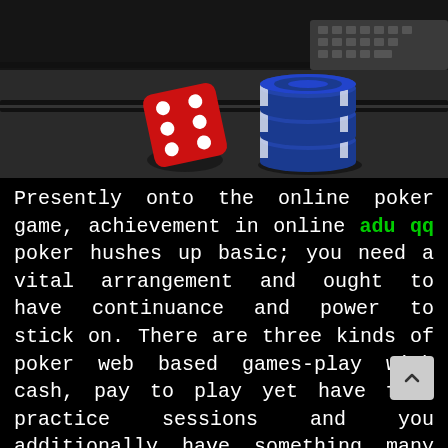[Figure (photo): Photo of a red dice and a stack of blue and white poker/casino chips on a dark surface, with a keyboard visible in the background.]
Presently onto the online poker game, achievement in online adu qq poker hushes up basic; you need a vital arrangement and ought to have continuance and power to stick on. There are three kinds of poker web based games-play with cash, pay to play yet have free practice sessions and you additionally have something many refer to as poker free roll a combination of both play with cash and pay to play. To be effective in online poker you ought to